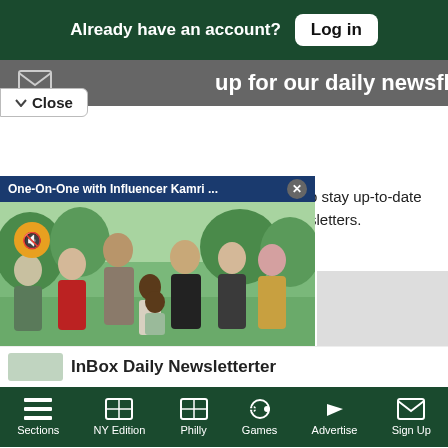Already have an account? Log in
Sign up for our daily newsflashes
Close
[Figure (screenshot): Video popup titled 'One-On-One with Influencer Kamri ...' with a group photo of a family/group of people outdoors, with a mute button overlay and a close X button]
o stay up-to-date
sletters.
InBox Daily Newsletter
Sections  NY Edition  Philly  Games  Advertise  Sign Up